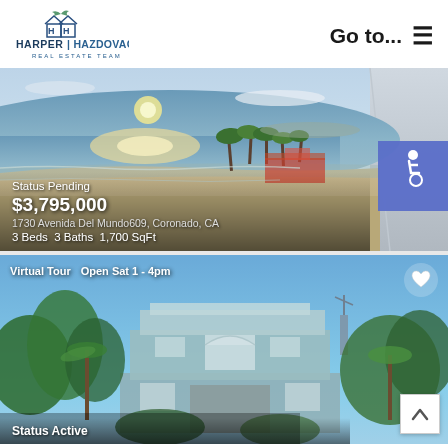[Figure (logo): Harper Hazdovac Real Estate Team logo with house icon]
Go to...  ☰
[Figure (photo): Aerial view of a beach and ocean at sunset with palm trees, Coronado CA]
Status Pending
$3,795,000
1730 Avenida Del Mundo609, Coronado, CA
3 Beds  3 Baths  1,700 SqFt
[Figure (photo): Exterior photo of a light blue two-story house with palm trees under a blue sky]
Virtual Tour   Open Sat 1 - 4pm
Status Active